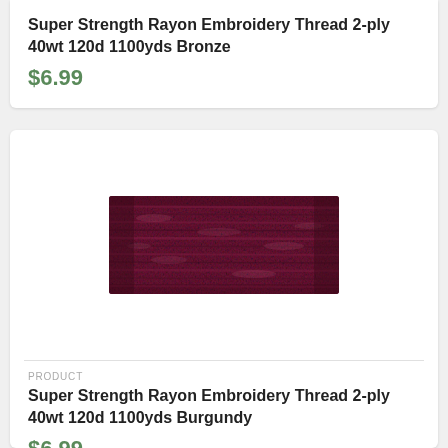Super Strength Rayon Embroidery Thread 2-ply 40wt 120d 1100yds Bronze
$6.99
[Figure (photo): Close-up photo of burgundy/dark red embroidery thread showing texture of twisted rayon fibers]
PRODUCT
Super Strength Rayon Embroidery Thread 2-ply 40wt 120d 1100yds Burgundy
$6.99